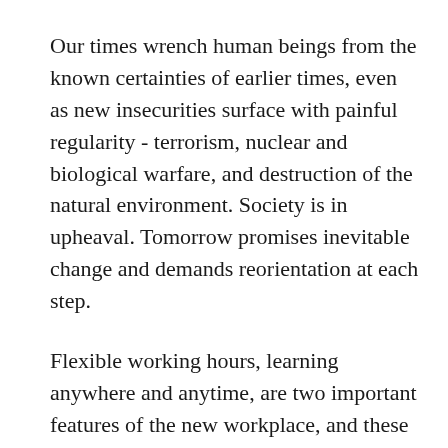Our times wrench human beings from the known certainties of earlier times, even as new insecurities surface with painful regularity - terrorism, nuclear and biological warfare, and destruction of the natural environment. Society is in upheaval. Tomorrow promises inevitable change and demands reorientation at each step.
Flexible working hours, learning anywhere and anytime, are two important features of the new workplace, and these have immense implications for schools. The structural edifices of classrooms and timetables are under question, for they are being rearranged